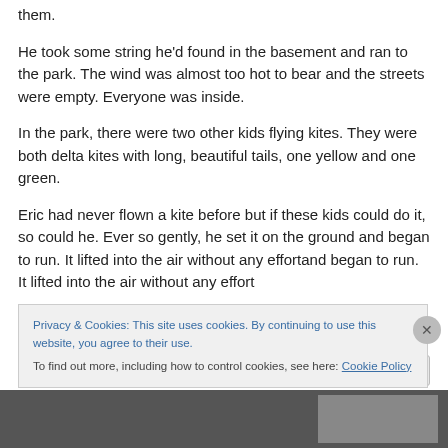them.
He took some string he'd found in the basement and ran to the park.  The wind was almost too hot to bear and the streets were empty.  Everyone was inside.
In the park, there were two other kids flying kites.  They were both delta kites with long, beautiful tails, one yellow and one green.
Eric had never flown a kite before but if these kids could do it, so could he.  Ever so gently, he set it on the ground and began to run.  It lifted into the air without any effort
Privacy & Cookies: This site uses cookies. By continuing to use this website, you agree to their use.
To find out more, including how to control cookies, see here: Cookie Policy
Close and accept